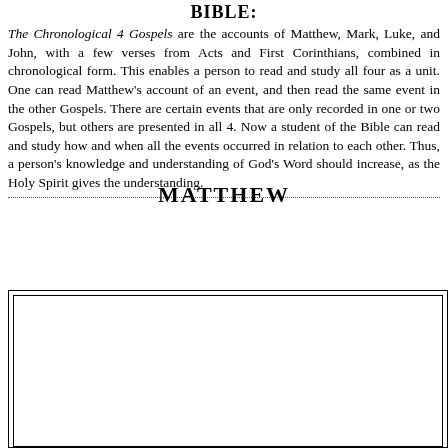BIBLE:
The Chronological 4 Gospels are the accounts of Matthew, Mark, Luke, and John, with a few verses from Acts and First Corinthians, combined in chronological form. This enables a person to read and study all four as a unit. One can read Matthew's account of an event, and then read the same event in the other Gospels. There are certain events that are only recorded in one or two Gospels, but others are presented in all 4. Now a student of the Bible can read and study how and when all the events occurred in relation to each other. Thus, a person's knowledge and understanding of God's Word should increase, as the Holy Spirit gives the understanding.
MATTHEW
[Figure (other): Empty rectangular box with double border (outer and inner frame), representing a content placeholder area in the document.]